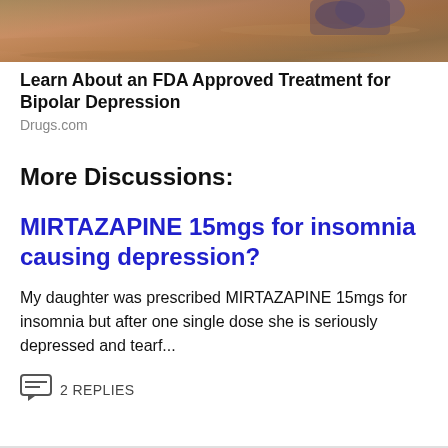[Figure (photo): Advertisement banner image showing a sandy outdoor scene with partial view of a person, warm earthy tones]
Learn About an FDA Approved Treatment for Bipolar Depression
Drugs.com
More Discussions:
MIRTAZAPINE 15mgs for insomnia causing depression?
My daughter was prescribed MIRTAZAPINE 15mgs for insomnia but after one single dose she is seriously depressed and tearf...
2 REPLIES